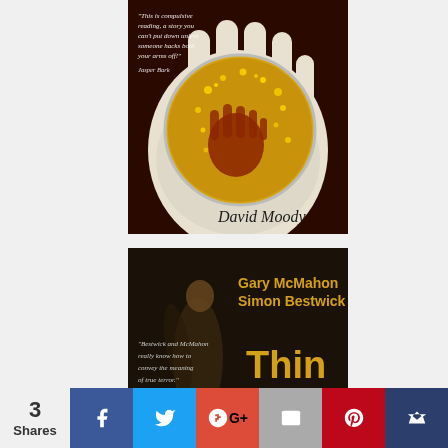[Figure (illustration): Book cover: David Moody. Dark reddish background with gloved hands holding a petri dish containing a handprint in yellow/amber bacterial culture. Quote: 'This is compulsive reading, a story you can't put down unless someone hacks both your arms off!' - Jasper Bark. Author name: David Moody at bottom right.]
[Figure (illustration): Book cover: Thin Men by Gary McMahon and Simon Bestwick. Dark background with shadowy silhouette figure. Yellow bold title 'Thin Men'. Quote: 'Bestwick and McMahon really know how to convey the meaning of true terror.' - Rue Morgue.]
3
Shares